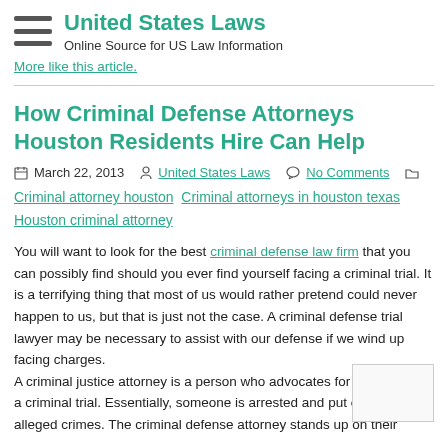United States Laws — Online Source for US Law Information
More like this article.
How Criminal Defense Attorneys Houston Residents Hire Can Help
March 22, 2013  United States Laws  No Comments  Criminal attorney houston  Criminal attorneys in houston texas  Houston criminal attorney
You will want to look for the best criminal defense law firm that you can possibly find should you ever find yourself facing a criminal trial. It is a terrifying thing that most of us would rather pretend could never happen to us, but that is just not the case. A criminal defense trial lawyer may be necessary to assist with our defense if we wind up facing charges.
A criminal justice attorney is a person who advocates for their client in a criminal trial. Essentially, someone is arrested and put on trial for alleged crimes. The criminal defense attorney stands up on their